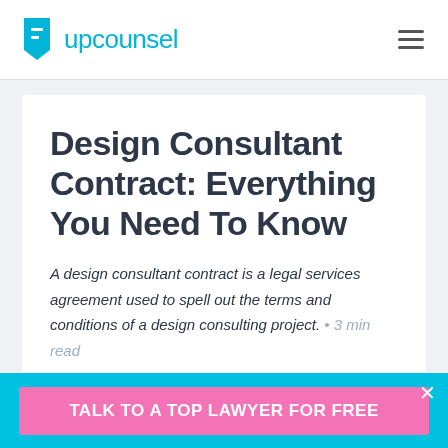upcounsel
Design Consultant Contract: Everything You Need To Know
A design consultant contract is a legal services agreement used to spell out the terms and conditions of a design consulting project. • 3 min read
1. What Is a Consultant?
2. When Is a Consultant Contract Used?
TALK TO A TOP LAWYER FOR FREE